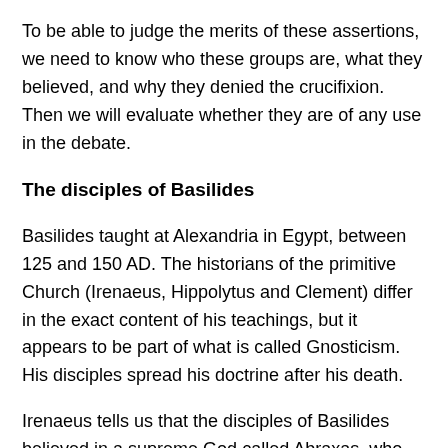To be able to judge the merits of these assertions, we need to know who these groups are, what they believed, and why they denied the crucifixion. Then we will evaluate whether they are of any use in the debate.
The disciples of Basilides
Basilides taught at Alexandria in Egypt, between 125 and 150 AD. The historians of the primitive Church (Irenaeus, Hippolytus and Clement) differ in the exact content of his teachings, but it appears to be part of what is called Gnosticism. His disciples spread his doctrine after his death.
Irenaeus tells us that the disciples of Basilides believed in a supreme God called Abraxas, who ruled over 365 different heavens. Each heaven was directed according to the orders of the angels, hierarchically, the last rank being the one who created the earth. The God of the Jews was for them one of the inferior angels who created the earth. The maker of...